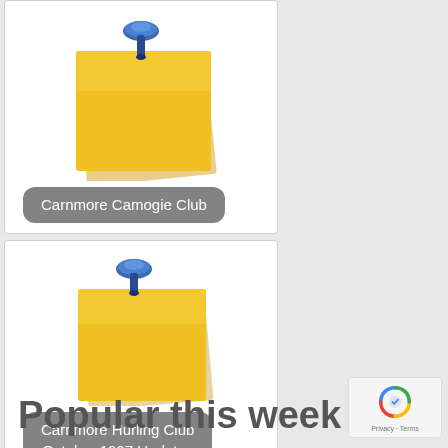[Figure (illustration): Yellow sticky note with blue pushpin icon representing Carnmore Camogie Club]
Carnmore Camogie Club
[Figure (illustration): Yellow sticky note with blue pushpin icon representing Carnmore Hurling Club October 1997 Updates]
Carnmore Hurling Club October 1997 Updates
Popular this week